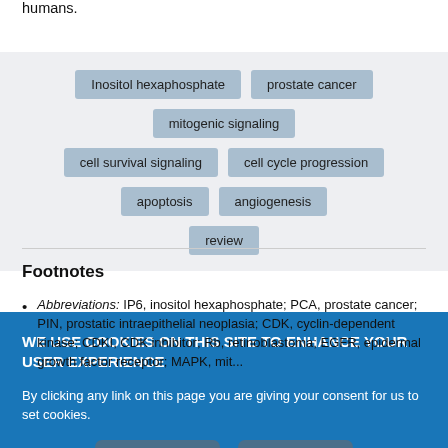humans.
Inositol hexaphosphate, prostate cancer, mitogenic signaling, cell survival signaling, cell cycle progression, apoptosis, angiogenesis, review
Footnotes
Abbreviations: IP6, inositol hexaphosphate; PCA, prostate cancer; PIN, prostatic intraepithelial neoplasia; CDK, cyclin-dependent kinase; CDKI, CDK inhibitor; Rb, retinoblastoma; EGFR, epidermal growth factor receptor; MAPK, mitogen-activated protein kinase
WE USE COOKIES ON THIS SITE TO ENHANCE YOUR USER EXPERIENCE
By clicking any link on this page you are giving your consent for us to set cookies.